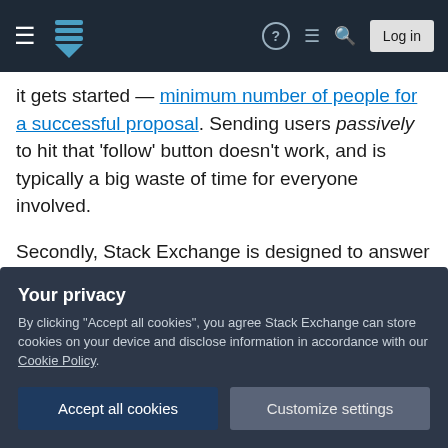Stack Exchange navigation bar with hamburger menu, logo, help icon, chat icon, search icon, and Log in button
it gets started — minimum number of people for a successful proposal. Sending users passively to hit that 'follow' button doesn't work, and is typically a big waste of time for everyone involved.
Secondly, Stack Exchange is designed to answer practical, applied questions someone might encounter in their day-to-day use of this product. If the product is unreleased, the majority of example questions will likely entail:
What is this [product]?
Your privacy
By clicking "Accept all cookies", you agree Stack Exchange can store cookies on your device and disclose information in accordance with our Cookie Policy.
Accept all cookies
Customize settings